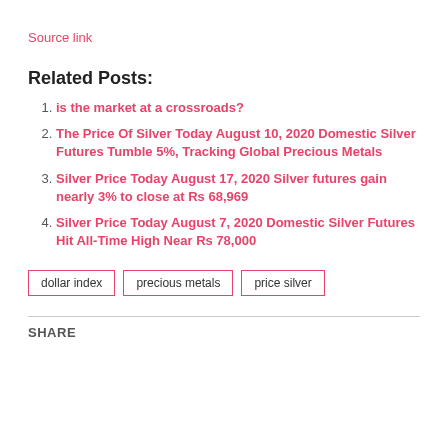Source link
Related Posts:
is the market at a crossroads?
The Price Of Silver Today August 10, 2020 Domestic Silver Futures Tumble 5%, Tracking Global Precious Metals
Silver Price Today August 17, 2020 Silver futures gain nearly 3% to close at Rs 68,969
Silver Price Today August 7, 2020 Domestic Silver Futures Hit All-Time High Near Rs 78,000
dollar index   precious metals   price silver
SHARE